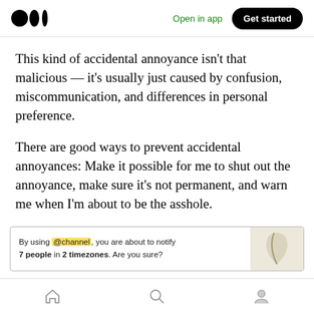Medium logo | Open in app | Get started
This kind of accidental annoyance isn’t that malicious — it’s usually just caused by confusion, miscommunication, and differences in personal preference.
There are good ways to prevent accidental annoyances: Make it possible for me to shut out the annoyance, make sure it’s not permanent, and warn me when I’m about to be the asshole.
[Figure (screenshot): Slack-style notification warning: 'By using @channel, you are about to notify 7 people in 2 timezones. Are you sure?' with a decorative image on the right.]
Bottom navigation bar with home, search, and profile icons